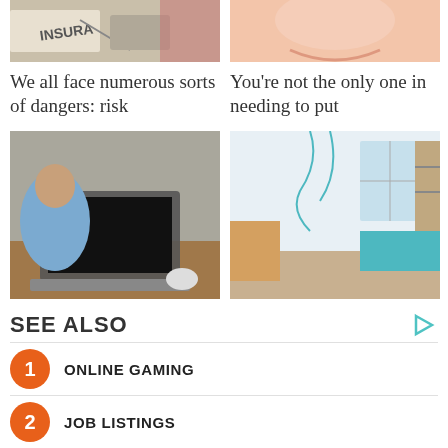[Figure (photo): Insurance document with pen and glasses, partial view]
[Figure (photo): Close-up of a smiling woman's face]
We all face numerous sorts of dangers: risk
You're not the only one in needing to put
[Figure (photo): Man working on a laptop at a wooden desk]
[Figure (photo): Modern small house interior room]
Your Current laptop seems to be slowing
It is completely okay to have a small house.
SEE ALSO
1 ONLINE GAMING
2 JOB LISTINGS